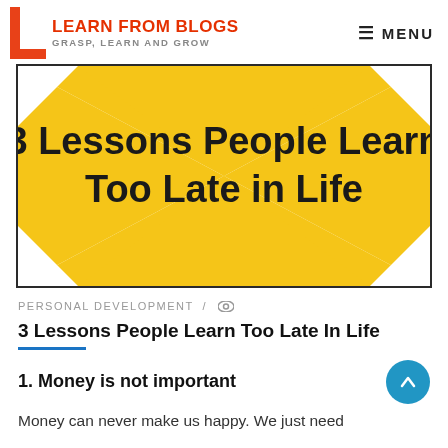LEARN FROM BLOGS — GRASP, LEARN AND GROW | MENU
[Figure (illustration): Yellow bowtie/ribbon-shaped banner on white background with bold black text reading '3 Lessons People Learn Too Late in Life']
PERSONAL DEVELOPMENT /
3 Lessons People Learn Too Late In Life
1. Money is not important
Money can never make us happy. We just need